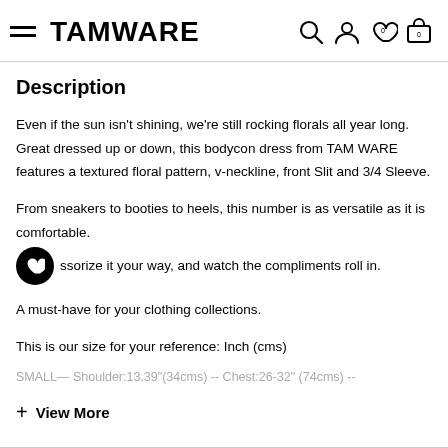TAMWARE
Description
Even if the sun isn't shining, we're still rocking florals all year long. Great dressed up or down, this bodycon dress from TAM WARE features a textured floral pattern, v-neckline, front Slit and 3/4 Sleeve.
From sneakers to booties to heels, this number is as versatile as it is comfortable.
Accessorize it your way, and watch the compliments roll in.
A must-have for your clothing collections.
This is our size for your reference: Inch (cms)
SMALL— Shoulder:13.39"(34cms) -- Chest:26-32" (74cms) --
+ View More